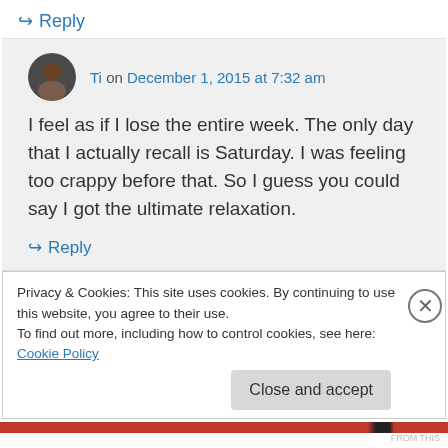↳ Reply
Ti on December 1, 2015 at 7:32 am
I feel as if I lose the entire week. The only day that I actually recall is Saturday. I was feeling too crappy before that. So I guess you could say I got the ultimate relaxation.
↳ Reply
Privacy & Cookies: This site uses cookies. By continuing to use this website, you agree to their use.
To find out more, including how to control cookies, see here: Cookie Policy
Close and accept